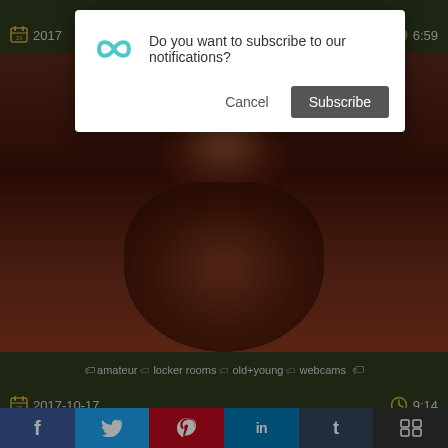[Figure (screenshot): Browser notification permission dialog overlaying a video website. Dialog asks 'Do you want to subscribe to our notifications?' with Cancel and Subscribe buttons. Below is a video thumbnail showing a blurred figure, with metadata bar showing date (2017) and duration (6:59), tags bar (amateur, locker rooms, old+young, webcams), a second video bar with date 2017-10-17 and duration 9:14, and a social sharing bar at bottom (Facebook, Twitter, Pinterest, LinkedIn, Tumblr, More).]